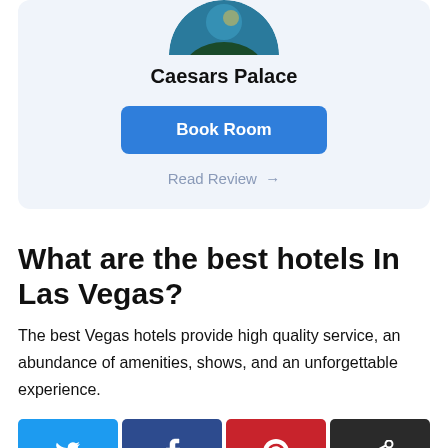[Figure (photo): Circular cropped photo of a forest/nature scene used as hotel image for Caesars Palace, partially visible at top of card]
Caesars Palace
[Figure (other): Blue 'Book Room' button]
Read Review →
What are the best hotels In Las Vegas?
The best Vegas hotels provide high quality service, an abundance of amenities, shows, and an unforgettable experience.
[Figure (other): Row of four social share buttons: Twitter (blue bird icon), Facebook (dark blue f icon), Pinterest (red P icon), Share (dark grey share icon)]